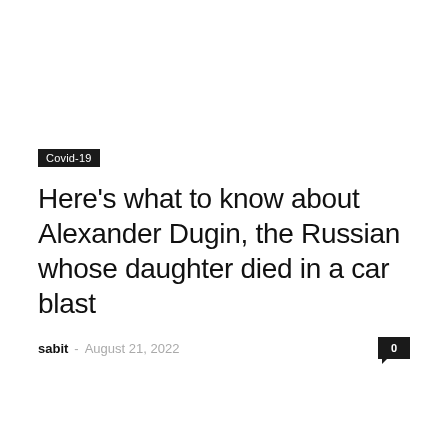Covid-19
Here's what to know about Alexander Dugin, the Russian whose daughter died in a car blast
sabit - August 21, 2022